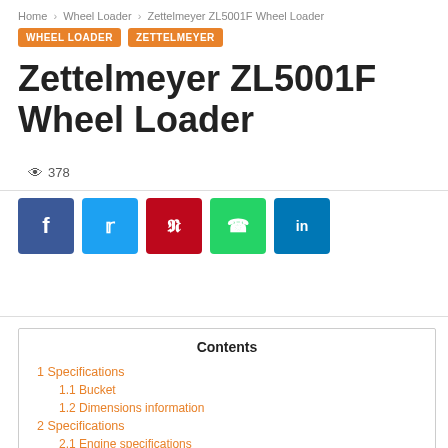Home › Wheel Loader › Zettelmeyer ZL5001F Wheel Loader
WHEEL LOADER   ZETTELMEYER
Zettelmeyer ZL5001F Wheel Loader
👁 378
[Figure (infographic): Social share buttons: Facebook (blue), Twitter (light blue), Pinterest (red), WhatsApp (green), LinkedIn (dark blue)]
| Contents |
| --- |
| 1 Specifications |
| 1.1 Bucket |
| 1.2 Dimensions information |
| 2 Specifications |
| 2.1 Engine specifications |
| 2.2 Functional specifications |
| 2.3 Transmission specifications |